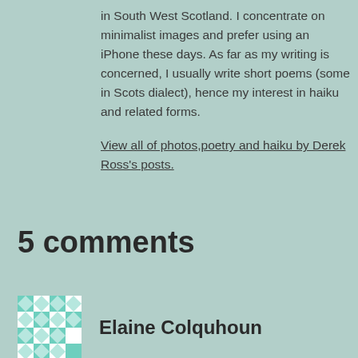in South West Scotland. I concentrate on minimalist images and prefer using an iPhone these days. As far as my writing is concerned, I usually write short poems (some in Scots dialect), hence my interest in haiku and related forms.
View all of photos,poetry and haiku by Derek Ross's posts.
5 comments
[Figure (illustration): Avatar icon with green and white geometric/mosaic pattern]
Elaine Colquhoun